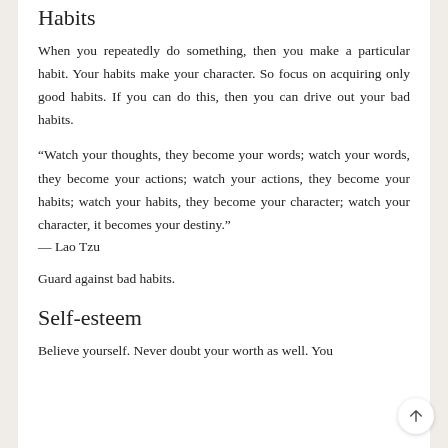Habits
When you repeatedly do something, then you make a particular habit. Your habits make your character. So focus on acquiring only good habits. If you can do this, then you can drive out your bad habits.
“Watch your thoughts, they become your words; watch your words, they become your actions; watch your actions, they become your habits; watch your habits, they become your character; watch your character, it becomes your destiny.”
— Lao Tzu
Guard against bad habits.
Self-esteem
Believe yourself. Never doubt your worth as well. You